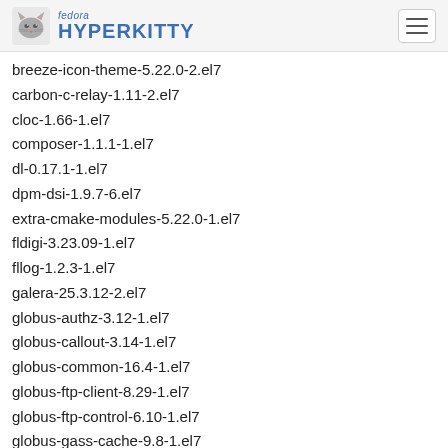fedora HYPERKITTY
breeze-icon-theme-5.22.0-2.el7
carbon-c-relay-1.11-2.el7
cloc-1.66-1.el7
composer-1.1.1-1.el7
dl-0.17.1-1.el7
dpm-dsi-1.9.7-6.el7
extra-cmake-modules-5.22.0-1.el7
fldigi-3.23.09-1.el7
fllog-1.2.3-1.el7
galera-25.3.12-2.el7
globus-authz-3.12-1.el7
globus-callout-3.14-1.el7
globus-common-16.4-1.el7
globus-ftp-client-8.29-1.el7
globus-ftp-control-6.10-1.el7
globus-gass-cache-9.8-1.el7
globus-gass-copy-9.19-1.el7
globus-gram-client-13.13-1.el7
globus-gram-client-tools-11.8-1.el7
globus-gridftp-server-10.4-1.el7